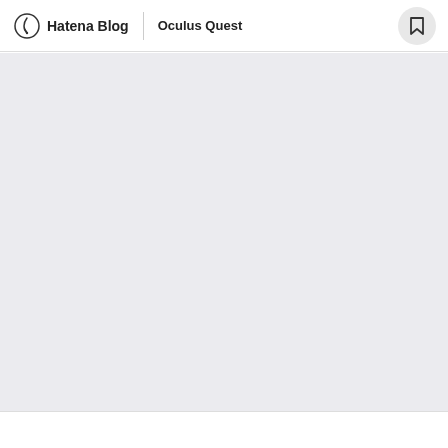Hatena Blog | Oculus Quest
[Figure (other): Light gray empty content area placeholder]